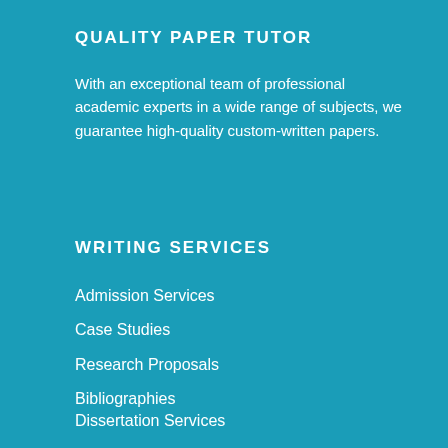QUALITY PAPER TUTOR
With an exceptional team of professional academic experts in a wide range of subjects, we guarantee high-quality custom-written papers.
WRITING SERVICES
Admission Services
Case Studies
Research Proposals
Bibliographies
Dissertation Services